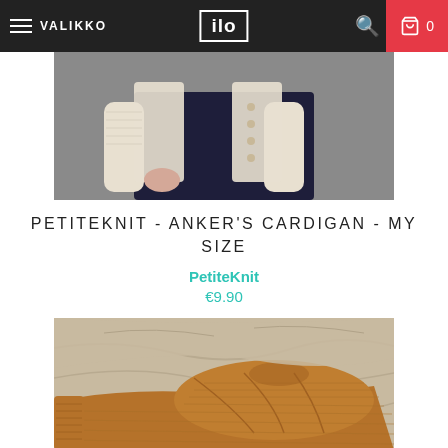VALIKKO | ilo | 0
[Figure (photo): Cropped photo of a person wearing a cream/white knit cardigan over dark jeans, holding the cardigan open slightly]
PETITEKNIT - ANKER'S CARDIGAN - MY SIZE
PetiteKnit
€9.90
[Figure (photo): Close-up photo of a mustard/amber colored knit sweater laid flat on a beige/neutral textured fabric background, showing the yoke construction]